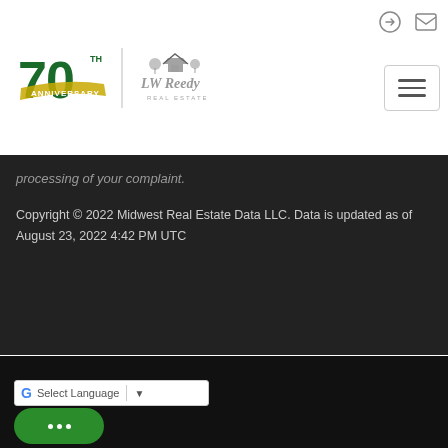[Figure (logo): LW Reedy Real Estate 70th Anniversary logo with house icon]
processing of your complaint.
Copyright © 2022 Midwest Real Estate Data LLC. Data is updated as of August 23, 2022 4:42 PM UTC
© 2022 Inside Real Estate / Terms of Use / Privacy Policy / Accessibility / Fair Housing Statement /
[Figure (logo): Equal Housing Opportunity logo]
[Figure (screenshot): Google Translate language selector widget]
[Figure (other): Green chat bubble button with three dots]